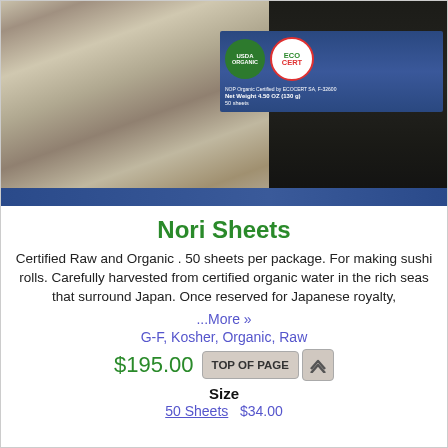[Figure (photo): Product photo of Nori Sheets package showing oyster/seaweed product on left and dark nori sheets on right, with USDA Organic and ECO CERT certification logos, Net Weight 4.50 OZ (130g), 50 sheets]
Nori Sheets
Certified Raw and Organic . 50 sheets per package. For making sushi rolls. Carefully harvested from certified organic water in the rich seas that surround Japan. Once reserved for Japanese royalty,
...More »
G-F, Kosher, Organic, Raw
$195.00
Size
50 Sheets  $34.00